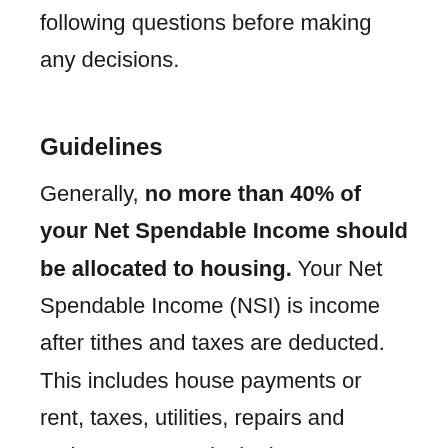following questions before making any decisions.
Guidelines
Generally, no more than 40% of your Net Spendable Income should be allocated to housing. Your Net Spendable Income (NSI) is income after tithes and taxes are deducted. This includes house payments or rent, taxes, utilities, repairs and maintenance, and telephone. Remember to calculate insurance, taxes, utilities, and other fees (like HOA) into your monthly estimation, not just the estimated cost of